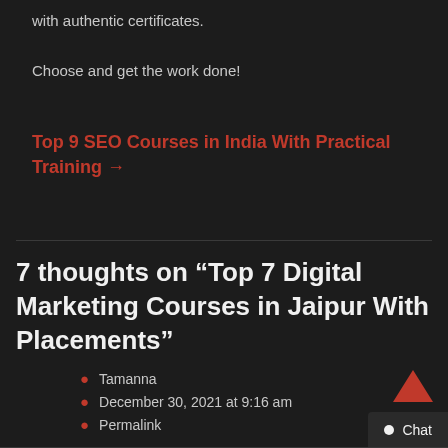with authentic certificates.
Choose and get the work done!
Top 9 SEO Courses in India With Practical Training →
7 thoughts on “Top 7 Digital Marketing Courses in Jaipur With Placements”
Tamanna
December 30, 2021 at 9:16 am
Permalink